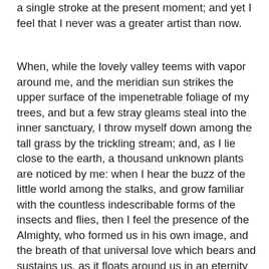a single stroke at the present moment; and yet I feel that I never was a greater artist than now.
When, while the lovely valley teems with vapor around me, and the meridian sun strikes the upper surface of the impenetrable foliage of my trees, and but a few stray gleams steal into the inner sanctuary, I throw myself down among the tall grass by the trickling stream; and, as I lie close to the earth, a thousand unknown plants are noticed by me: when I hear the buzz of the little world among the stalks, and grow familiar with the countless indescribable forms of the insects and flies, then I feel the presence of the Almighty, who formed us in his own image, and the breath of that universal love which bears and sustains us, as it floats around us in an eternity of bliss; and then, my friend, when darkness overspreads my eyes, and heaven and earth seem to dwell in my soul and absorb its power, like the form of a beloved mistress, then I often think with longing, Oh, would I could describe these conceptions, could impress upon paper all that is living so full and warm